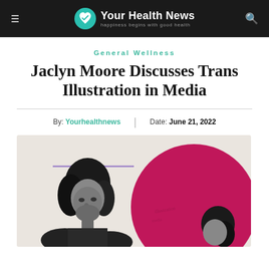Your Health News — happiness begins with good health
General Wellness
Jaclyn Moore Discusses Trans Illustration in Media
By: Yourhealthnews | Date: June 21, 2022
[Figure (photo): Black and white photo of a person with dark hair on the left, and a large magenta/pink circle on the right with another person partially visible, against a light beige background with a purple horizontal line accent.]